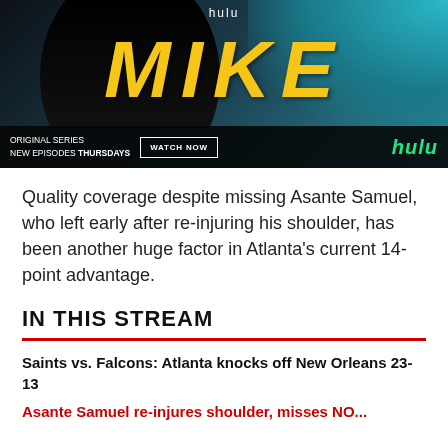[Figure (other): Hulu advertisement banner for 'MIKE' original series. Shows a dark background with a person silhouette, large yellow 'MIKE' text, 'hulu' branding at top, 'ORIGINAL SERIES NEW EPISODES THURSDAYS' text, a 'WATCH NOW' button, and green 'hulu' logo at bottom right.]
Quality coverage despite missing Asante Samuel, who left early after re-injuring his shoulder, has been another huge factor in Atlanta's current 14-point advantage.
IN THIS STREAM
Saints vs. Falcons: Atlanta knocks off New Orleans 23-13
Asante Samuel re-injures shoulder, misses NO...